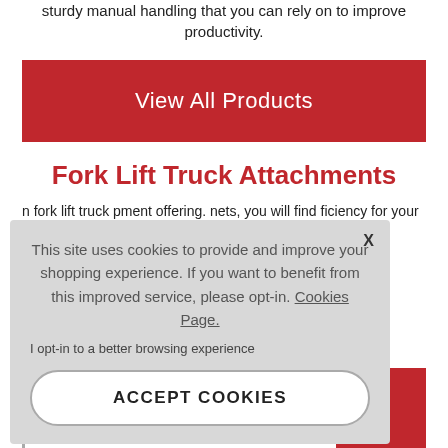sturdy manual handling that you can rely on to improve productivity.
View All Products
Fork Lift Truck Attachments
...fork lift truck ...pment offering. ...nets, you will find ...ficiency for your
[Figure (screenshot): Cookie consent overlay dialog with text: 'This site uses cookies to provide and improve your shopping experience. If you want to benefit from this improved service, please opt-in. Cookies Page.' with 'I opt-in to a better browsing experience' link and 'ACCEPT COOKIES' button.]